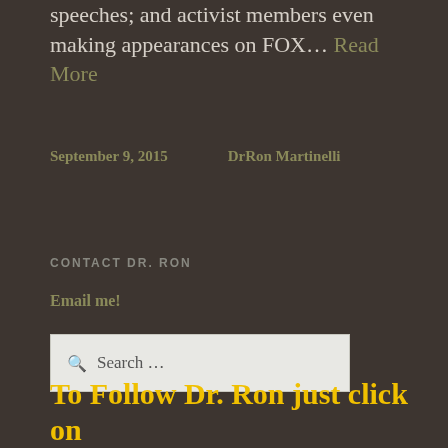speeches; and activist members even making appearances on FOX… Read More
September 9, 2015     DrRon Martinelli
CONTACT DR. RON
Email me!
Search …
To Follow Dr. Ron just click on